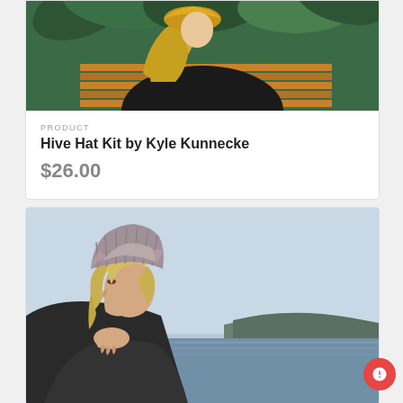[Figure (photo): Photo of a woman wearing a yellow/mustard knit hat, seen from behind/side, with tropical green plants in the background and wooden slat wall, wearing black clothing.]
PRODUCT
Hive Hat Kit by Kyle Kunnecke
$26.00
[Figure (photo): Photo of a young blonde woman in profile wearing a chunky knit slouchy beanie hat in grey/pink/mauve colors, holding it to her ear, with a waterfront/lake background and wearing a dark jacket.]